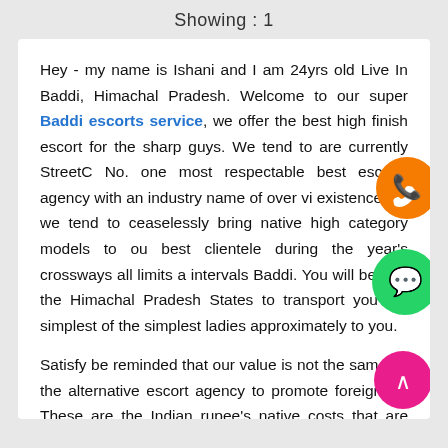Showing : 1
Hey - my name is Ishani and I am 24yrs old Live In Baddi, Himachal Pradesh. Welcome to our super Baddi escorts service, we offer the best high finish escort for the sharp guys. We tend to are currently StreetC No. one most respectable best escorts agency with an industry name of over vi existence. As we tend to ceaselessly bring native high category models to ou best clientele during the year's crossways all limits a intervals Baddi. You will believe the Himachal Pradesh States to transport you the simplest of the simplest ladies approximately to you.
Satisfy be reminded that our value is not the same as the alternative escort agency to promote foreigners. These are the Indian rupee's native costs that are mercantilism vigorously for the history ten years if you actually craving for excellent native models. You will be